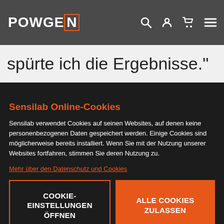[Figure (logo): POWGEN logo in white text with orange-bordered box around the N, on dark grey navigation bar with search, user, cart, and menu icons]
spürte ich die Ergebnisse."
Sensilab Online-Cookies
Sensilab verwendet Cookies auf seinen Websites, auf denen keine personenbezogenen Daten gespeichert werden. Einige Cookies sind möglicherweise bereits installiert. Wenn Sie mit der Nutzung unserer Websites fortfahren, stimmen Sie deren Nutzung zu.
Mehr über den Datenschutz und Cookies
COOKIE-EINSTELLUNGEN ÖFFNEN
ALLE COOKIES ZULASSEN